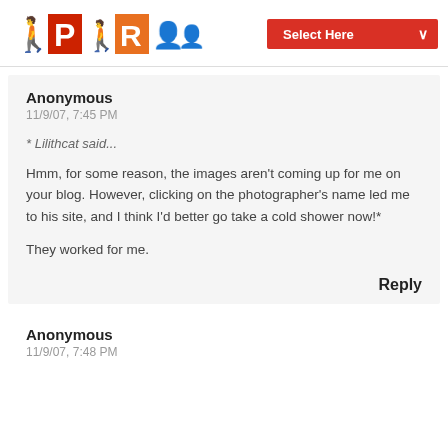PR [logo] Select Here
Anonymous
11/9/07, 7:45 PM
* Lilithcat said...
Hmm, for some reason, the images aren't coming up for me on your blog. However, clicking on the photographer's name led me to his site, and I think I'd better go take a cold shower now!*

They worked for me.
Reply
Anonymous
11/9/07, 7:48 PM